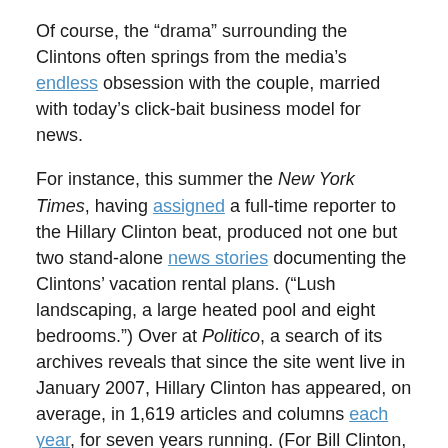Of course, the “drama” surrounding the Clintons often springs from the media’s endless obsession with the couple, married with today’s click-bait business model for news.
For instance, this summer the New York Times, having assigned a full-time reporter to the Hillary Clinton beat, produced not one but two stand-alone news stories documenting the Clintons’ vacation rental plans. (“Lush landscaping, a large heated pool and eight bedrooms.”) Over at Politico, a search of its archives reveals that since the site went live in January 2007, Hillary Clinton has appeared, on average, in 1,619 articles and columns each year, for seven years running. (For Bill Clinton, it’s 1,695 times each year. That’s twice as many as Sen. Mitch McConnell, who’s who’s been one of the most powerful Republicans in Washington for that entire period.)